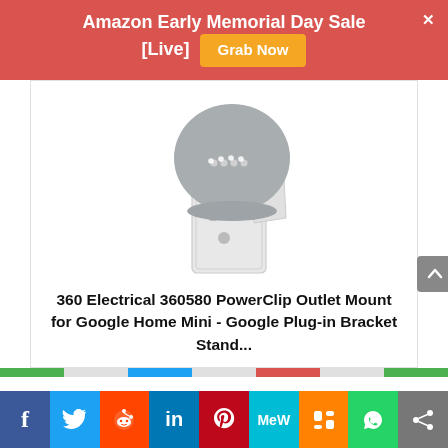Amazon Early Memorial Day Sale [Live]  Grab Now
[Figure (photo): Product photo of a Google Home Mini smart speaker plugged into a wall outlet via a white bracket mount (360 Electrical 360580 PowerClip Outlet Mount)]
360 Electrical 360580 PowerClip Outlet Mount for Google Home Mini - Google Plug-in Bracket Stand...